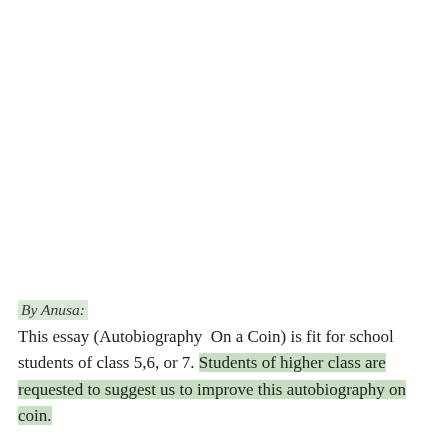By Anusa:
This essay (Autobiography  On a Coin) is fit for school students of class 5,6, or 7. Students of higher class are requested to suggest us to improve this autobiography on coin.